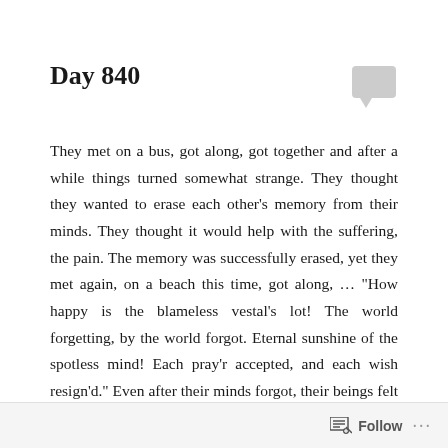Day 840
They met on a bus, got along, got together and after a while things turned somewhat strange. They thought they wanted to erase each other's memory from their minds. They thought it would help with the suffering, the pain. The memory was successfully erased, yet they met again, on a beach this time, got along, … "How happy is the blameless vestal's lot! The world forgetting, by the world forgot. Eternal sunshine of the spotless mind! Each pray'r accepted, and each wish resign'd." Even after their minds forgot, their beings felt their connection, simply by being themselves and
Follow ...